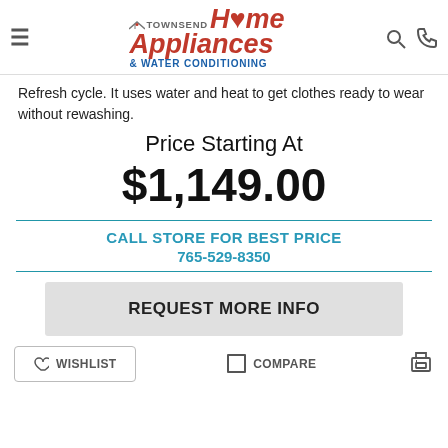Townsend Home Appliances & Water Conditioning — navigation header with hamburger menu, logo, search and phone icons
Refresh cycle. It uses water and heat to get clothes ready to wear without rewashing.
Price Starting At
$1,149.00
CALL STORE FOR BEST PRICE
765-529-8350
REQUEST MORE INFO
WISHLIST   COMPARE